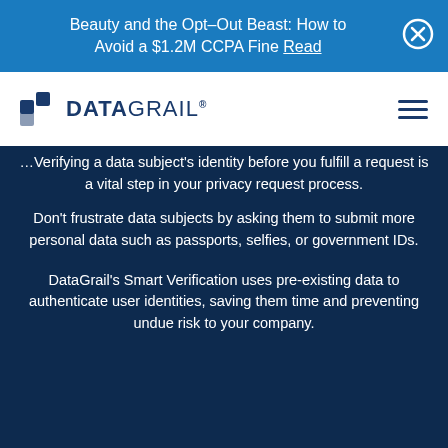Beauty and the Opt-Out Beast: How to Avoid a $1.2M CCPA Fine Read
[Figure (logo): DataGrail logo with DG icon and wordmark]
Verifying a data subject's identity before you fulfill a request is a vital step in your privacy request process. Don't frustrate data subjects by asking them to submit more personal data such as passports, selfies, or government IDs.
DataGrail's Smart Verification uses pre-existing data to authenticate user identities, saving them time and preventing undue risk to your company.